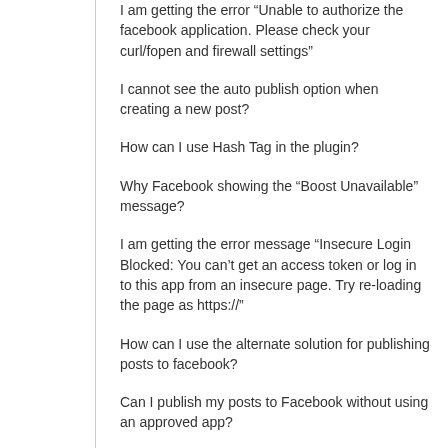I am getting the error “Unable to authorize the facebook application. Please check your curl/fopen and firewall settings”
I cannot see the auto publish option when creating a new post?
How can I use Hash Tag in the plugin?
Why Facebook showing the “Boost Unavailable” message?
I am getting the error message “Insecure Login Blocked: You can’t get an access token or log in to this app from an insecure page. Try re-loading the page as https://”
How can I use the alternate solution for publishing posts to facebook?
Can I publish my posts to Facebook without using an approved app?
I cannot publish to Facebook. Why?